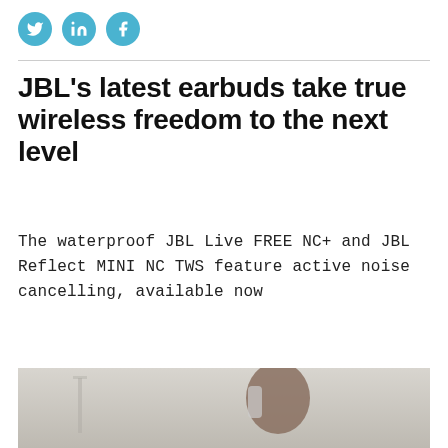[Figure (other): Social media share icons: Twitter (bird), LinkedIn (in), Facebook (f) — three teal circular buttons]
JBL's latest earbuds take true wireless freedom to the next level
The waterproof JBL Live FREE NC+ and JBL Reflect MINI NC TWS feature active noise cancelling, available now
[Figure (photo): A man with a beard and dark hair drinking from a clear water bottle while wearing JBL wireless earbuds. Taken outdoors with a blurred bridge/cityscape background.]